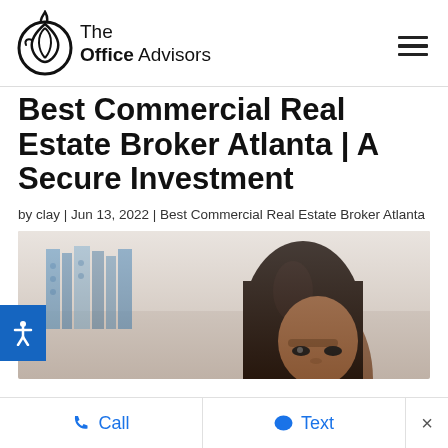[Figure (logo): The Office Advisors logo — flame/leaf icon on left, text 'The Office Advisors' on right]
Best Commercial Real Estate Broker Atlanta | A Secure Investment
by clay | Jun 13, 2022 | Best Commercial Real Estate Broker Atlanta
[Figure (photo): Woman with long dark hair in professional setting, bookshelves in background]
Call   Text   ×